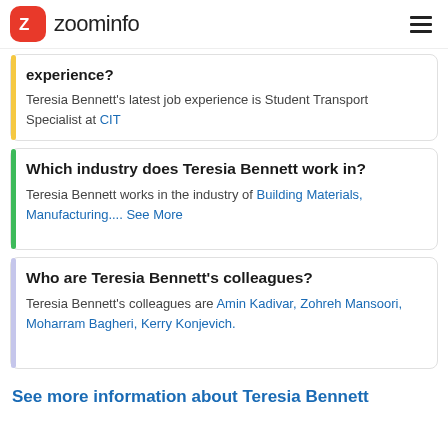zoominfo
experience? Teresia Bennett's latest job experience is Student Transport Specialist at CIT
Which industry does Teresia Bennett work in?
Teresia Bennett works in the industry of Building Materials, Manufacturing.... See More
Who are Teresia Bennett's colleagues?
Teresia Bennett's colleagues are Amin Kadivar, Zohreh Mansoori, Moharram Bagheri, Kerry Konjevich.
See more information about Teresia Bennett